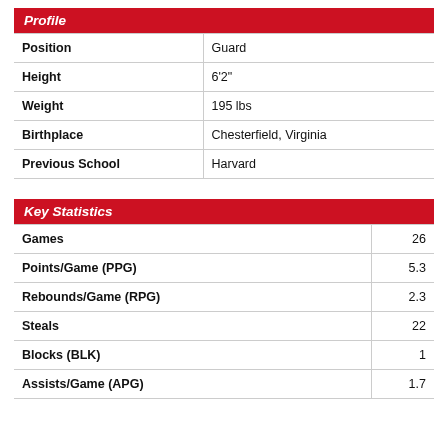Profile
| Field | Value |
| --- | --- |
| Position | Guard |
| Height | 6'2" |
| Weight | 195 lbs |
| Birthplace | Chesterfield, Virginia |
| Previous School | Harvard |
Key Statistics
| Stat | Value |
| --- | --- |
| Games | 26 |
| Points/Game (PPG) | 5.3 |
| Rebounds/Game (RPG) | 2.3 |
| Steals | 22 |
| Blocks (BLK) | 1 |
| Assists/Game (APG) | 1.7 |